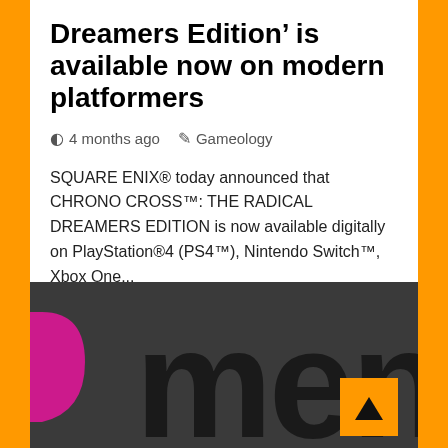Dreamers Edition’ is available now on modern platformers
⧖4 months ago   📏Gameology
SQUARE ENIX® today announced that CHRONO CROSS™: THE RADICAL DREAMERS EDITION is now available digitally on PlayStation®4 (PS4™), Nintendo Switch™, Xbox One...
[Figure (logo): Partial logo showing a pink/magenta curved exclamation-like shape on the left and dark large letters 'men' on a dark grey background, with an orange square back-to-top button in the bottom right]